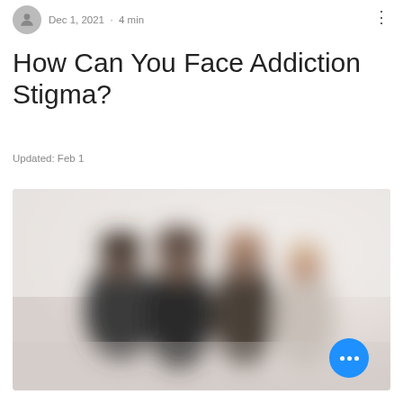Dec 1, 2021 · 4 min
How Can You Face Addiction Stigma?
Updated: Feb 1
[Figure (photo): Blurred group photo of several people standing together against a light background]